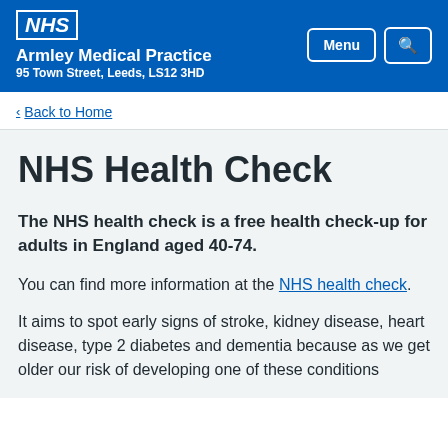NHS Armley Medical Practice 95 Town Street, Leeds, LS12 3HD
< Back to Home
NHS Health Check
The NHS health check is a free health check-up for adults in England aged 40-74.
You can find more information at the NHS health check.
It aims to spot early signs of stroke, kidney disease, heart disease, type 2 diabetes and dementia because as we get older our risk of developing one of these conditions